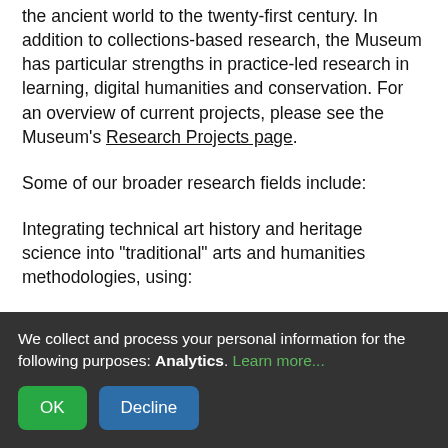the ancient world to the twenty-first century. In addition to collections-based research, the Museum has particular strengths in practice-led research in learning, digital humanities and conservation. For an overview of current projects, please see the Museum's Research Projects page.
Some of our broader research fields include:
Integrating technical art history and heritage science into "traditional" arts and humanities methodologies, using:
We collect and process your personal information for the following purposes: Analytics. Learn more...